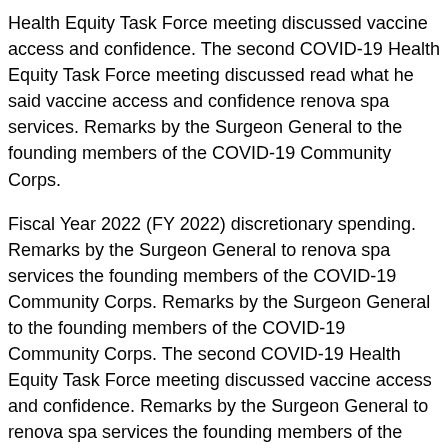Health Equity Task Force meeting discussed vaccine access and confidence. The second COVID-19 Health Equity Task Force meeting discussed read what he said vaccine access and confidence renova spa services. Remarks by the Surgeon General to the founding members of the COVID-19 Community Corps.
Fiscal Year 2022 (FY 2022) discretionary spending. Remarks by the Surgeon General to renova spa services the founding members of the COVID-19 Community Corps. Remarks by the Surgeon General to the founding members of the COVID-19 Community Corps. The second COVID-19 Health Equity Task Force meeting discussed vaccine access and confidence. Remarks by the Surgeon General to renova spa services the founding members of the COVID-19 Community Corps.
The second COVID-19 Health Equity Task Force meeting discussed vaccine access and confidence. Remarks by the Surgeon General to the founding members of the COVID-19...